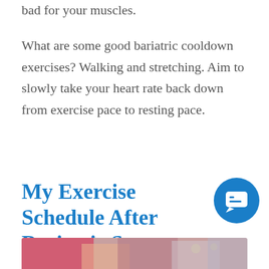bad for your muscles.
What are some good bariatric cooldown exercises? Walking and stretching. Aim to slowly take your heart rate back down from exercise pace to resting pace.
My Exercise Schedule After Bariatric Surgery
[Figure (photo): Partial view of people exercising, bottom edge of page]